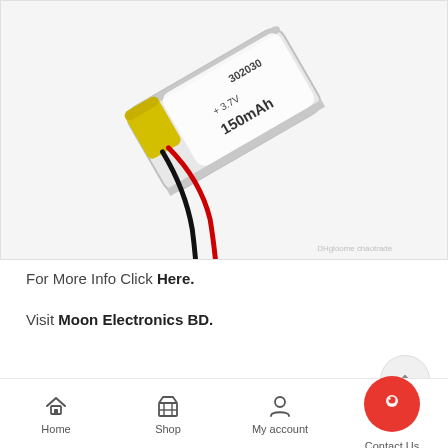[Figure (photo): A small lithium polymer battery labeled '302030 + 3.7V 150mAh' with red and black wires, shown on a white background. Watermark reads 'DHgloome chaotrade'.]
For More Info Click Here.
Visit Moon Electronics BD.
Home   Shop   My account   Contact Us